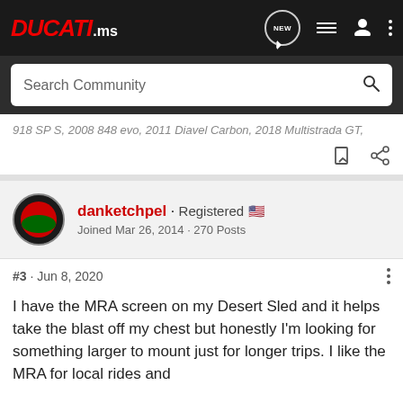DUCATI.ms
Search Community
918 SP S, 2008 848 evo, 2011 Diavel Carbon, 2018 Multistrada GT,
danketchpel · Registered
Joined Mar 26, 2014 · 270 Posts
#3 · Jun 8, 2020
I have the MRA screen on my Desert Sled and it helps take the blast off my chest but honestly I'm looking for something larger to mount just for longer trips. I like the MRA for local rides and

off-road but want more protection for a multi day ride.
Sent from my SAMSUNG-SM-G900A using Tapatalk